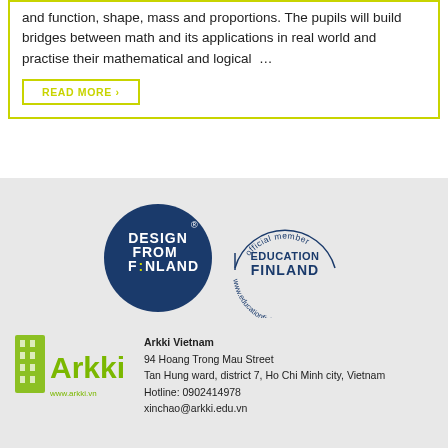and function, shape, mass and proportions. The pupils will build bridges between math and its applications in real world and practise their mathematical and logical …
READ MORE ›
[Figure (logo): Design from Finland logo - dark blue circle with white text]
[Figure (logo): Education Finland official member stamp/seal logo]
[Figure (logo): Arkki logo with green building tower icon and green Arkki text, www.arkki.vn]
Arkki Vietnam
94 Hoang Trong Mau Street
Tan Hung ward, district 7, Ho Chi Minh city, Vietnam
Hotline: 0902414978
xinchao@arkki.edu.vn